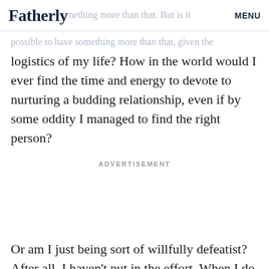Fatherly | MENU
drumming and tiring. If I'm going out on dates, I'm
possible to have something more than that. But is it possible to have something more than that, given the logistics of my life? How in the world would I ever find the time and energy to devote to nurturing a budding relationship, even if by some oddity I managed to find the right person?
ADVERTISEMENT
Or am I just being sort of willfully defeatist? After all, I haven't put in the effort. When I do log in to